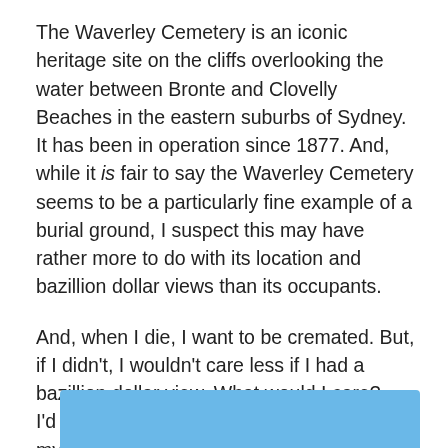The Waverley Cemetery is an iconic heritage site on the cliffs overlooking the water between Bronte and Clovelly Beaches in the eastern suburbs of Sydney. It has been in operation since 1877. And, while it is fair to say the Waverley Cemetery seems to be a particularly fine example of a burial ground, I suspect this may have rather more to do with its location and bazillion dollar views than its occupants.
And, when I die, I want to be cremated. But, if I didn't, I wouldn't care less if I had a bazillion dollar view. What would I care? – I'd be dead. What I would care about is that my dog could come and visit me and be allowed to mourn my passing in the appropriate way…* Just saying.
[Figure (other): Blue rectangle at the bottom of the page, partially visible, representing an image or banner.]